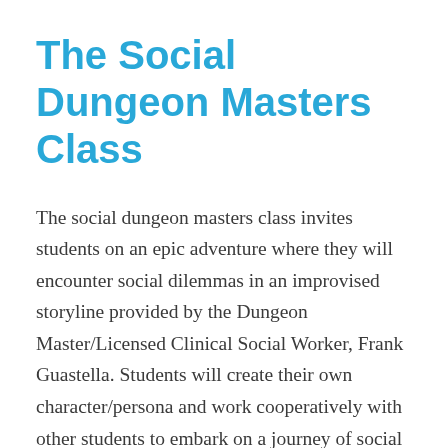The Social Dungeon Masters Class
The social dungeon masters class invites students on an epic adventure where they will encounter social dilemmas in an improvised storyline provided by the Dungeon Master/Licensed Clinical Social Worker, Frank Guastella. Students will create their own character/persona and work cooperatively with other students to embark on a journey of social quests. Students take on the role of adventurer/social learner testing their insight, knowledge, and intuition against an array of social challenges with the the...